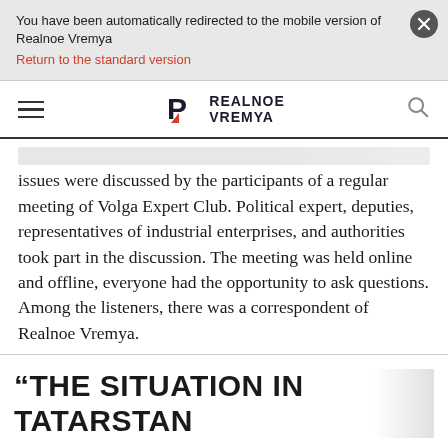You have been automatically redirected to the mobile version of Realnoe Vremya
Return to the standard version
[Figure (logo): Realnoe Vremya logo with hamburger menu and search icon]
issues were discussed by the participants of a regular meeting of Volga Expert Club. Political expert, deputies, representatives of industrial enterprises, and authorities took part in the discussion. The meeting was held online and offline, everyone had the opportunity to ask questions. Among the listeners, there was a correspondent of Realnoe Vremya.
“THE SITUATION IN TATARSTAN